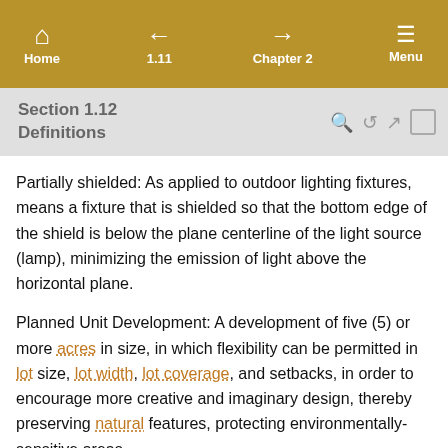Home  1.11  Chapter 2  Menu
Section 1.12
Definitions
Partially shielded: As applied to outdoor lighting fixtures, means a fixture that is shielded so that the bottom edge of the shield is below the plane centerline of the light source (lamp), minimizing the emission of light above the horizontal plane.
Planned Unit Development: A development of five (5) or more acres in size, in which flexibility can be permitted in lot size, lot width, lot coverage, and setbacks, in order to encourage more creative and imaginary design, thereby preserving natural features, protecting environmentally-sensitive areas